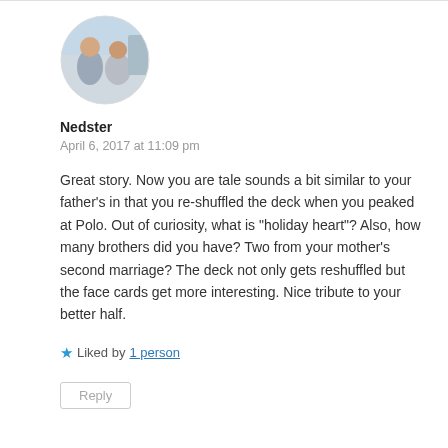[Figure (photo): Circular avatar photo of two people]
Nedster
April 6, 2017 at 11:09 pm
Great story. Now you are tale sounds a bit similar to your father’s in that you re-shuffled the deck when you peaked at Polo. Out of curiosity, what is “holiday heart”? Also, how many brothers did you have? Two from your mother’s second marriage? The deck not only gets reshuffled but the face cards get more interesting. Nice tribute to your better half.
Liked by 1 person
Reply